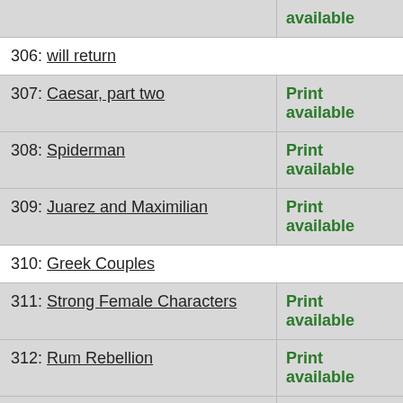306: will return
307: Caesar, part two — Print available
308: Spiderman — Print available
309: Juarez and Maximilian — Print available
310: Greek Couples
311: Strong Female Characters — Print available
312: Rum Rebellion — Print available
313: Teens and more teens — Print available
314: Curly's Gold (book update)
315: Fop Gun — Print available